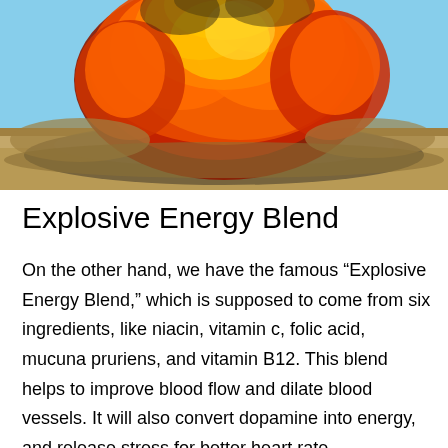[Figure (photo): Large outdoor explosion with massive orange fireball cloud rising above a dry desert landscape under a blue sky.]
Explosive Energy Blend
On the other hand, we have the famous “Explosive Energy Blend,” which is supposed to come from six ingredients, like niacin, vitamin c, folic acid, mucuna pruriens, and vitamin B12. This blend helps to improve blood flow and dilate blood vessels. It will also convert dopamine into energy, and release stress for better heart rate performance, promotes a better recovering phase after workouts, enhances energy and resistance, offers more brain capacity for focus, and eventually